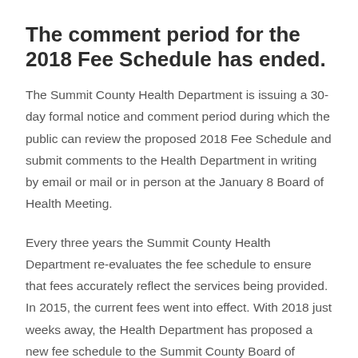The comment period for the 2018 Fee Schedule has ended.
The Summit County Health Department is issuing a 30-day formal notice and comment period during which the public can review the proposed 2018 Fee Schedule and submit comments to the Health Department in writing by email or mail or in person at the January 8 Board of Health Meeting.
Every three years the Summit County Health Department re-evaluates the fee schedule to ensure that fees accurately reflect the services being provided. In 2015, the current fees went into effect. With 2018 just weeks away, the Health Department has proposed a new fee schedule to the Summit County Board of Health. At this time, the Board is seeking comments in